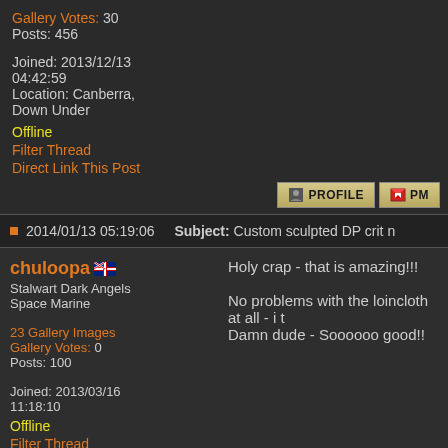Gallery Votes: 30
Posts: 456
Joined: 2013/12/13 04:42:59
Location: Canberra, Down Under
Offline
Filter Thread
Direct Link This Post
2014/01/13 05:19:06   Subject: Custom sculpted DP crit n
chuloopa
Stalwart Dark Angels Space Marine
Holy crap - that is amazing!!!
No problems with the loincloth at all - i t
Damn dude - Soooooo good!!
23 Gallery Images
Gallery Votes: 0
Posts: 100
Joined: 2013/03/16 11:18:10
Offline
Filter Thread